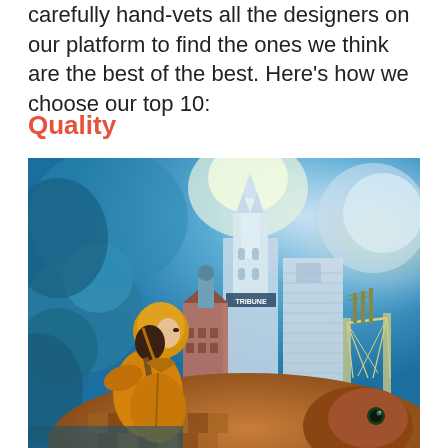carefully hand-vets all the designers on our platform to find the ones we think are the best of the best. Here's how we choose our top 10:
Quality
[Figure (illustration): Art deco style illustration showing a woman in orange aviator suit and helmet looking toward a cityscape featuring the Tribune Tower building and a suspension bridge, with a large eagle or dog head in the foreground, all rendered in blue, teal, and orange tones.]